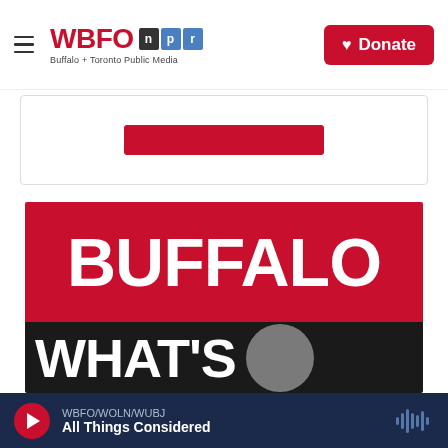WBFO npr — Buffalo + Toronto Public Media | Donate
[Figure (illustration): Red rectangle / partial banner visible behind card border]
[Figure (illustration): Podcast/show artwork: red background with large white bold text 'BUFFALO' on top half, dark/black background with large white bold text "WHAT'S" and partial question-mark circle on bottom half]
WBFO/WOLN/WUBJ — All Things Considered (audio player bar)